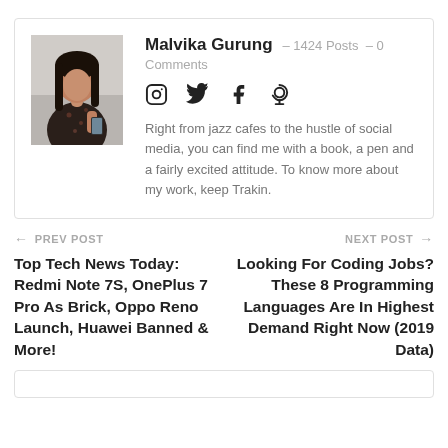[Figure (photo): Profile photo of Malvika Gurung, a woman in a dark floral top holding a phone, standing outdoors]
Malvika Gurung  -  1424 Posts  -  0 Comments
[Figure (infographic): Social media icons: Instagram, Twitter, Facebook, and a location/world pin icon]
Right from jazz cafes to the hustle of social media, you can find me with a book, a pen and a fairly excited attitude. To know more about my work, keep Trakin.
← PREV POST
Top Tech News Today: Redmi Note 7S, OnePlus 7 Pro As Brick, Oppo Reno Launch, Huawei Banned & More!
NEXT POST →
Looking For Coding Jobs? These 8 Programming Languages Are In Highest Demand Right Now (2019 Data)